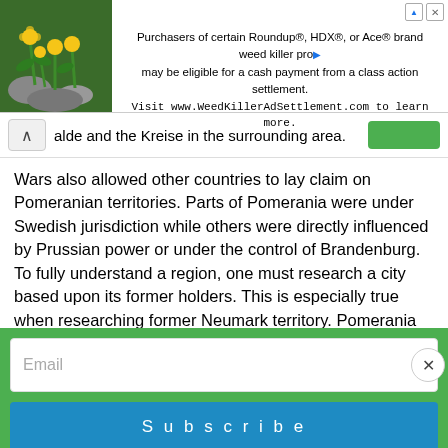[Figure (other): Advertisement banner with plant image and text: Purchasers of certain Roundup®, HDX®, or Ace® brand weed killer products may be eligible for a cash payment from a class action settlement. Visit www.WeedKillerAdSettlement.com to learn more.]
alde and the Kreise in the surrounding area.
Wars also allowed other countries to lay claim on Pomeranian territories. Parts of Pomerania were under Swedish jurisdiction while others were directly influenced by Prussian power or under the control of Brandenburg. To fully understand a region, one must research a city based upon its former holders. This is especially true when researching former Neumark territory. Pomerania was devastated by the Thirty Years' War. The Seven Years' War also raged throughout parts of Poland, affecting Silesia as well. Veterans of war can be found in or near garrison cities long after war; an example of this can be found in the
[Figure (other): Email subscription widget with input field labeled 'Email', close button (×), and blue Subscribe button on green background]